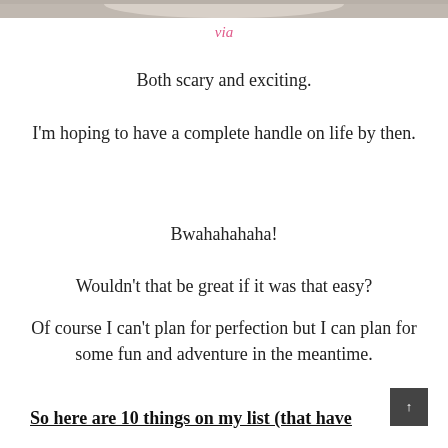[Figure (photo): Partial photo strip at top of page, cropped image of a plate or food item]
via
Both scary and exciting.
I'm hoping to have a complete handle on life by then.
Bwahahahaha!
Wouldn't that be great if it was that easy?
Of course I can't plan for perfection but I can plan for some fun and adventure in the meantime.
So here are 10 things on my list (that have